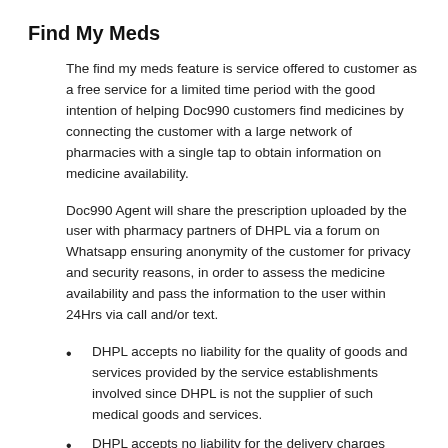Find My Meds
The find my meds feature is service offered to customer as a free service for a limited time period with the good intention of helping Doc990 customers find medicines by connecting the customer with a large network of pharmacies with a single tap to obtain information on medicine availability.
Doc990 Agent will share the prescription uploaded by the user with pharmacy partners of DHPL via a forum on Whatsapp ensuring anonymity of the customer for privacy and security reasons, in order to assess the medicine availability and pass the information to the user within 24Hrs via call and/or text.
DHPL accepts no liability for the quality of goods and services provided by the service establishments involved since DHPL is not the supplier of such medical goods and services.
DHPL accepts no liability for the delivery charges